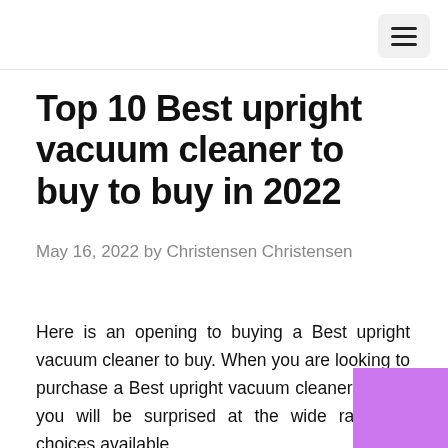Top 10 Best upright vacuum cleaner to buy to buy in 2022
May 16, 2022 by Christensen Christensen
Here is an opening to buying a Best upright vacuum cleaner to buy. When you are looking to purchase a Best upright vacuum cleaner to buy, you will be surprised at the wide range of choices available.